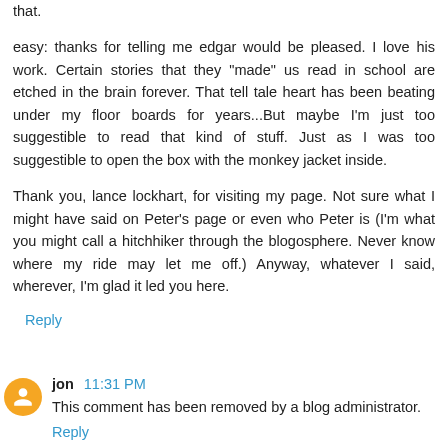that.
easy: thanks for telling me edgar would be pleased. I love his work. Certain stories that they "made" us read in school are etched in the brain forever. That tell tale heart has been beating under my floor boards for years...But maybe I'm just too suggestible to read that kind of stuff. Just as I was too suggestible to open the box with the monkey jacket inside.
Thank you, lance lockhart, for visiting my page. Not sure what I might have said on Peter's page or even who Peter is (I'm what you might call a hitchhiker through the blogosphere. Never know where my ride may let me off.) Anyway, whatever I said, wherever, I'm glad it led you here.
Reply
jon 11:31 PM
This comment has been removed by a blog administrator.
Reply